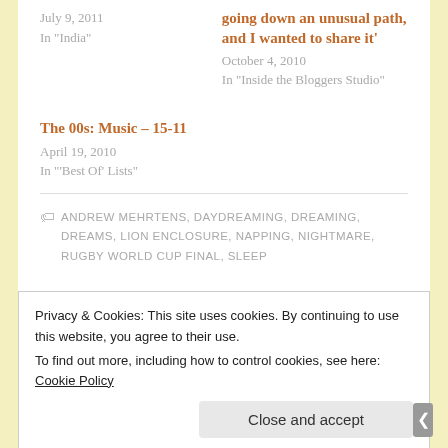July 9, 2011
In "India"
going down an unusual path, and I wanted to share it'
October 4, 2010
In "Inside the Bloggers Studio"
The 00s: Music – 15-11
April 19, 2010
In "'Best Of' Lists"
ANDREW MEHRTENS, DAYDREAMING, DREAMING, DREAMS, LION ENCLOSURE, NAPPING, NIGHTMARE, RUGBY WORLD CUP FINAL, SLEEP
Privacy & Cookies: This site uses cookies. By continuing to use this website, you agree to their use.
To find out more, including how to control cookies, see here: Cookie Policy
Close and accept